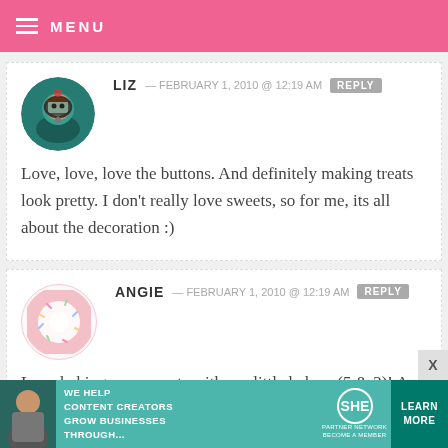MENU
LIZ — FEBRUARY 1, 2010 @ 12:19 AM  REPLY
Love, love, love the buttons. And definitely making treats look pretty. I don't really love sweets, so for me, its all about the decoration :)
ANGIE — FEBRUARY 1, 2010 @ 12:19 AM  REPLY
Love baking new sweets with my little bakers (5 & 2)! And thank goodness at
[Figure (infographic): SHE Partner Network advertisement banner with text: WE HELP CONTENT CREATORS GROW BUSINESSES THROUGH... LEARN MORE BECOME A MEMBER]